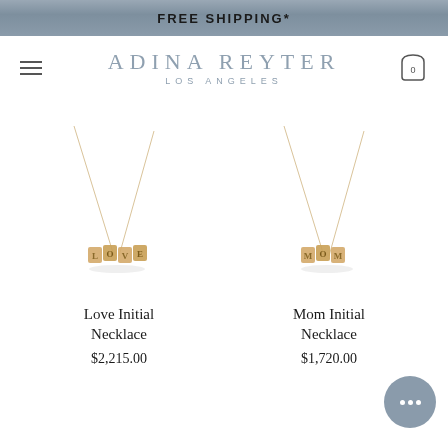FREE SHIPPING*
ADINA REYTER
LOS ANGELES
[Figure (photo): Gold necklace with letter charms spelling LOVE on a delicate chain, displayed on white background]
Love Initial Necklace
$2,215.00
[Figure (photo): Gold necklace with letter charms spelling MOM on a delicate chain, displayed on white background]
Mom Initial Necklace
$1,720.00